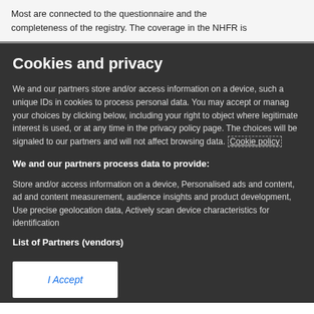Most are connected to the questionnaire and the completeness of the registry. The coverage in the NHFR is
Cookies and privacy
We and our partners store and/or access information on a device, such a unique IDs in cookies to process personal data. You may accept or manage your choices by clicking below, including your right to object where legitimate interest is used, or at any time in the privacy policy page. These choices will be signaled to our partners and will not affect browsing data. Cookie policy
We and our partners process data to provide:
Store and/or access information on a device, Personalised ads and content, ad and content measurement, audience insights and product development, Use precise geolocation data, Actively scan device characteristics for identification
List of Partners (vendors)
I Accept